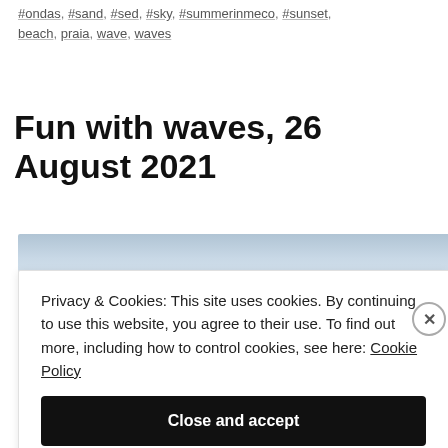#ondas, #sand, #sed, #sky, #summerinmeco, #sunset, beach, praia, wave, waves
Fun with waves, 26 August 2021
[Figure (photo): Partial view of a beach/ocean photo, mostly showing blue-grey sky and water, partially obscured by cookie consent dialog]
Privacy & Cookies: This site uses cookies. By continuing to use this website, you agree to their use. To find out more, including how to control cookies, see here: Cookie Policy
Close and accept